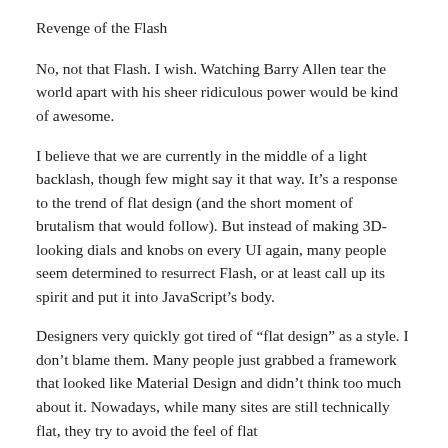Revenge of the Flash
No, not that Flash. I wish. Watching Barry Allen tear the world apart with his sheer ridiculous power would be kind of awesome.
I believe that we are currently in the middle of a light backlash, though few might say it that way. It’s a response to the trend of flat design (and the short moment of brutalism that would follow). But instead of making 3D-looking dials and knobs on every UI again, many people seem determined to resurrect Flash, or at least call up its spirit and put it into JavaScript’s body.
Designers very quickly got tired of “flat design” as a style. I don’t blame them. Many people just grabbed a framework that looked like Material Design and didn’t think too much about it. Nowadays, while many sites are still technically flat, they try to avoid the feel of flat